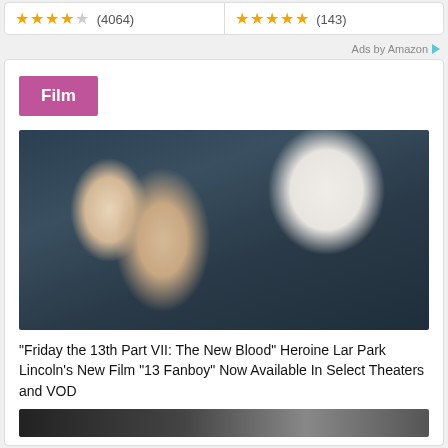★★★★☆ (4064)
★★★★★ (143)
Ads by Amazon
Film
[Figure (photo): Blonde woman in black outfit holding a skull, posing against a dark blue textured background]
“Friday the 13th Part VII: The New Blood” Heroine Lar Park Lincoln’s New Film “13 Fanboy” Now Available In Select Theaters and VOD
[Figure (photo): Partial view of another image at the bottom of the page]